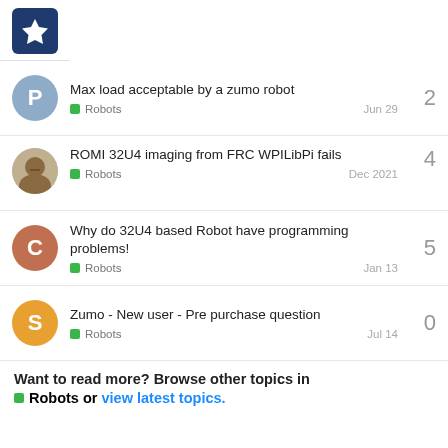Pololu forum logo
Max load acceptable by a zumo robot | Robots | Jun 29 | 2 replies
ROMI 32U4 imaging from FRC WPILibPi fails | Robots | Dec 2021 | 4 replies
Why do 32U4 based Robot have programming problems! | Robots | Jan 13 | 5 replies
Zumo - New user - Pre purchase question | Robots | Jul 14 | 0 replies
Want to read more? Browse other topics in Robots or view latest topics.